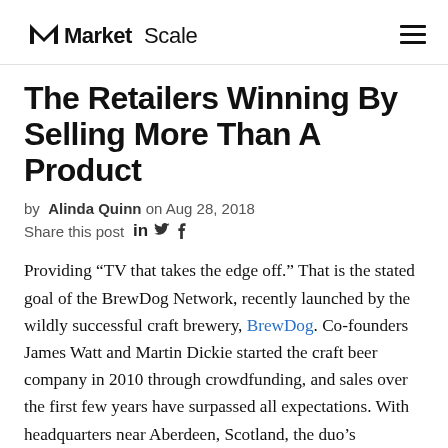MarketScale
The Retailers Winning By Selling More Than A Product
by Alinda Quinn on Aug 28, 2018
Share this post in Twitter Facebook
Providing “TV that takes the edge off.” That is the stated goal of the BrewDog Network, recently launched by the wildly successful craft brewery, BrewDog. Co-founders James Watt and Martin Dickie started the craft beer company in 2010 through crowdfunding, and sales over the first few years have surpassed all expectations. With headquarters near Aberdeen, Scotland, the duo’s American site debuted in 2017 on a 42-acre property in Columbus, Ohio.